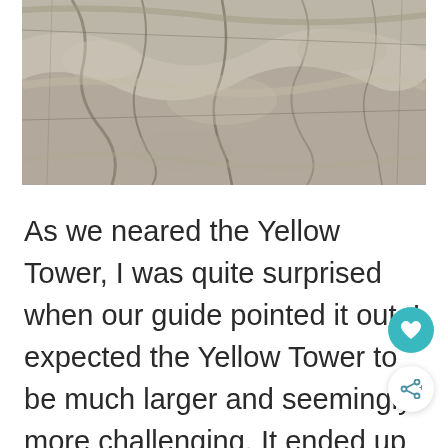[Figure (photo): Close-up photo of rocky granite surface with beige, grey, and dark mineral veins and textures]
As we neared the Yellow Tower, I was quite surprised when our guide pointed it out. I expected the Yellow Tower to be much larger and seemingly more challenging. It ended up being much smaller and more manageable than expected. With the assistance of the